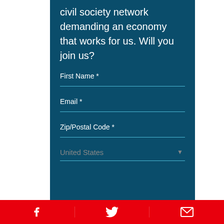civil society network demanding an economy that works for us. Will you join us?
First Name *
Email *
Zip/Postal Code *
United States
[Figure (infographic): Footer with three icons on red background: Facebook (f), Twitter bird, and envelope/email icon]
[Figure (infographic): Twitter bird icon on red footer bar]
[Figure (infographic): Envelope/email icon on red footer bar]